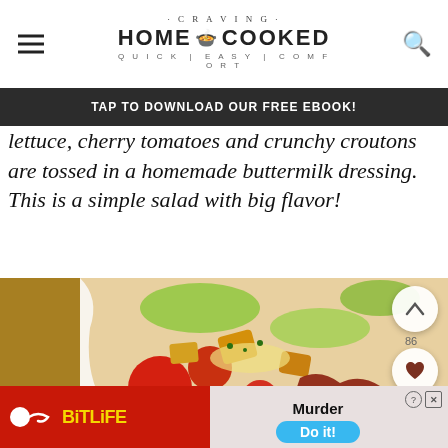CRAVING HOME COOKED QUICK | EASY | COMFORT
TAP TO DOWNLOAD OUR FREE EBOOK!
lettuce, cherry tomatoes and crunchy croutons are tossed in a homemade buttermilk dressing. This is a simple salad with big flavor!
[Figure (photo): Close-up photo of a salad bowl with cherry tomatoes, lettuce, croutons, and bacon pieces tossed in dressing, served in a wooden bowl]
[Figure (screenshot): BitLife mobile advertisement banner - red background with BitLife logo and Murder/Do it! call to action]